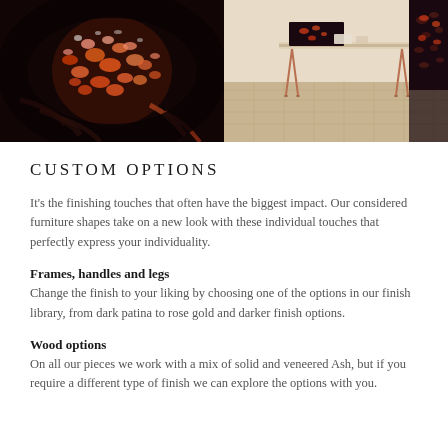[Figure (photo): Close-up of an animal print fabric/artwork in orange, pink, and black leopard and tiger stripe patterns]
[Figure (photo): Room interior showing a table with copper/rose gold hairpin legs and patterned fabric pieces displayed on it, on a parquet floor]
CUSTOM OPTIONS
It's the finishing touches that often have the biggest impact. Our considered furniture shapes take on a new look with these individual touches that perfectly express your individuality.
Frames, handles and legs
Change the finish to your liking by choosing one of the options in our finish library, from dark patina to rose gold and darker finish options.
Wood options
On all our pieces we work with a mix of solid and veneered Ash, but if you require a different type of finish we can explore the options with you.